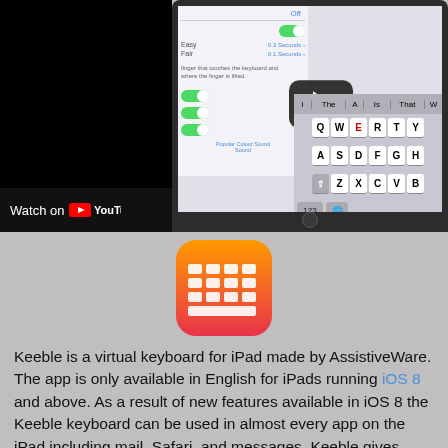[Figure (screenshot): YouTube video thumbnail showing iPad with Keeble keyboard app, with 'Watch on YouTube' bar at bottom left. The screen shows iOS settings and a QWERTY keyboard layout on an iPad.]
[Figure (logo): Keeble app icon - orange/red gradient background with white keyboard grid icon]
Keeble is a virtual keyboard for iPad made by AssistiveWare. The app is only available in English for iPads running iOS 8 and above. As a result of new features available in iOS 8 the Keeble keyboard can be used in almost every app on the iPad including mail, Safari, and messages. Keeble gives